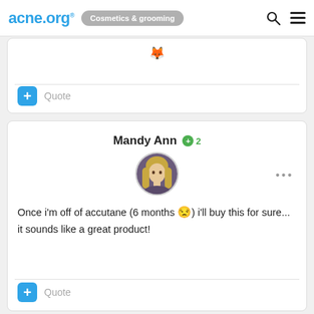acne.org — Cosmetics & grooming
[Figure (screenshot): Partial comment card with emoji at top and a Quote button at bottom]
Mandy Ann +2
[Figure (photo): Circular avatar photo of a young woman with long hair]
Once i'm off of accutane (6 months 😒) i'll buy this for sure... it sounds like a great product!
Quote